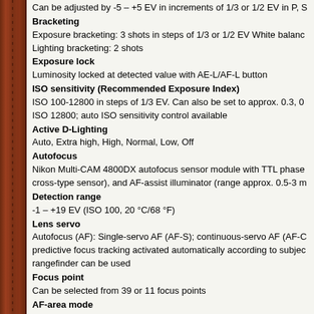Can be adjusted by -5 – +5 EV in increments of 1/3 or 1/2 EV in P, S
Bracketing
Exposure bracketing: 3 shots in steps of 1/3 or 1/2 EV White balanc
Lighting bracketing: 2 shots
Exposure lock
Luminosity locked at detected value with AE-L/AF-L button
ISO sensitivity (Recommended Exposure Index)
ISO 100-12800 in steps of 1/3 EV. Can also be set to approx. 0.3, 0
ISO 12800; auto ISO sensitivity control available
Active D-Lighting
Auto, Extra high, High, Normal, Low, Off
Autofocus
Nikon Multi-CAM 4800DX autofocus sensor module with TTL phase
cross-type sensor), and AF-assist illuminator (range approx. 0.5-3 m
Detection range
-1 – +19 EV (ISO 100, 20 °C/68 °F)
Lens servo
Autofocus (AF): Single-servo AF (AF-S); continuous-servo AF (AF-C
predictive focus tracking activated automatically according to subjec
rangefinder can be used
Focus point
Can be selected from 39 or 11 focus points
AF-area mode
Single-point AF, 9-, 21-, or 39- point dynamic-area AF, 3D-tracking, a
Focus lock